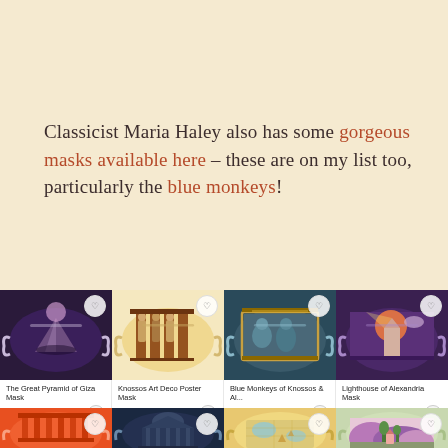Classicist Maria Haley also has some gorgeous masks available here – these are on my list too, particularly the blue monkeys!
[Figure (screenshot): A product grid screenshot showing 8 face masks for sale. Top row: The Great Pyramid of Giza Mask (From £9.19), Knossos Art Deco Poster Mask (From £9.19), Blue Monkeys of Knossos & Al... (From £9.19), Lighthouse of Alexandria Mask (From £9.19). Bottom row (partially visible): four more masks.]